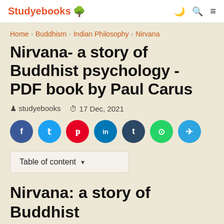Studyebooks 🌳
Home > Buddhism > Indian Philosophy > Nirvana
Nirvana- a story of Buddhist psychology - PDF book by Paul Carus
studyebooks   17 Dec, 2021
[Figure (infographic): Social sharing buttons: Facebook, Twitter, Pinterest, LinkedIn, Tumblr, WhatsApp, Telegram]
Table of content
Nirvana: a story of Buddhist